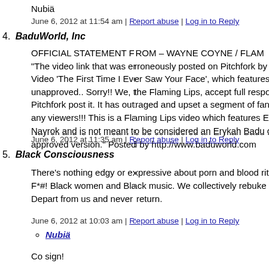Nubiä
June 6, 2012 at 11:54 am | Report abuse | Log in to Reply
4. BaduWorld, Inc
OFFICIAL STATEMENT FROM – WAYNE COYNE / FLAM... "The video link that was erroneously posted on Pitchfork by th... Video 'The First Time I Ever Saw Your Face', which features E... unapproved.. Sorry!! We, the Flaming Lips, accept full respons... Pitchfork post it. It has outraged and upset a segment of fans a... any viewers!!! This is a Flaming Lips video which features Ery... Nayrok and is not meant to be considered an Erykah Badu or N... approved version." Posted by http://www.baduworld.com
June 6, 2012 at 11:35 am | Report abuse | Log in to Reply
5. Black Consciousness
There's nothing edgy or expressive about porn and blood ritual... F*#! Black women and Black music. We collectively rebuke th... Depart from us and never return.
June 6, 2012 at 10:03 am | Report abuse | Log in to Reply
Nubiä
Co sign!